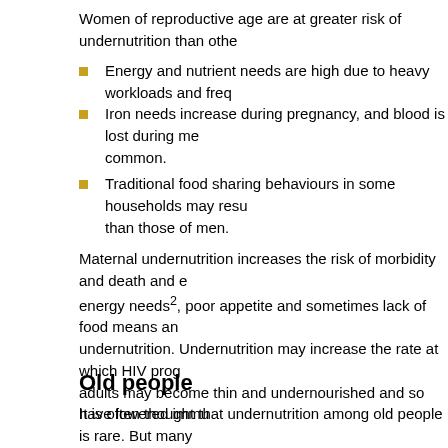Women of reproductive age are at greater risk of undernutrition than othe
Energy and nutrient needs are high due to heavy workloads and freq
Iron needs increase during pregnancy, and blood is lost during me common.
Traditional food sharing behaviours in some households may resu than those of men.
Maternal undernutrition increases the risk of morbidity and death and energy needs2, poor appetite and sometimes lack of food means an undernutrition. Undernutrition may increase the rate at which HIV prog adults may become thin and undernourished and so have lowered immu
Old people
It is often thought that undernutrition among old people is rare. But many people are at risk of undernutrition if they:
Have poor appetites – often resulting from illness or depression (e death of a relative)
Have eating difficulties because of lost teeth, sore gums, etc.
Are poor, sick, mentally confused or disabled especially if there is no